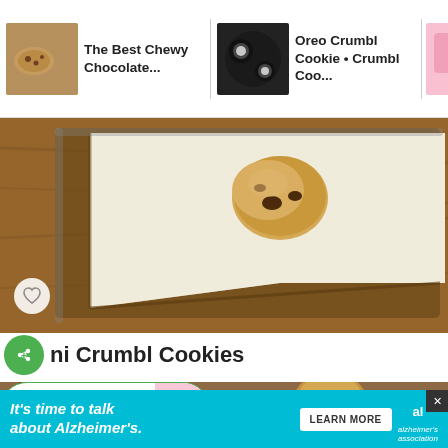[Figure (screenshot): Navigation bar showing cookie recipe thumbnails: 'The Best Chewy Chocolate...' and 'Oreo Crumbl Cookie • Crumbl Coo...' with green arrow and search buttons]
[Figure (photo): A baking sheet lined with parchment paper holding a single ball of chocolate chip cookie dough, on a wooden surface]
ni Crumbl Cookies
[Figure (photo): What's Next banner: Crumbl Sugar Cookie Recipe with thumbnail, and partial second cookie photo below]
[Figure (screenshot): Ad banner: It's time to talk about Alzheimer's. LEARN MORE. Alzheimer's Association logo.]